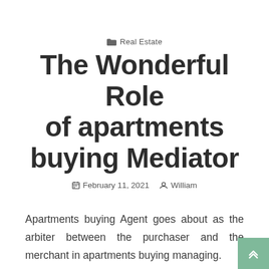Real Estate
The Wonderful Role of apartments buying Mediator
February 11, 2021  William
Apartments buying Agent goes about as the arbiter between the purchaser and the merchant in apartments buying managing.